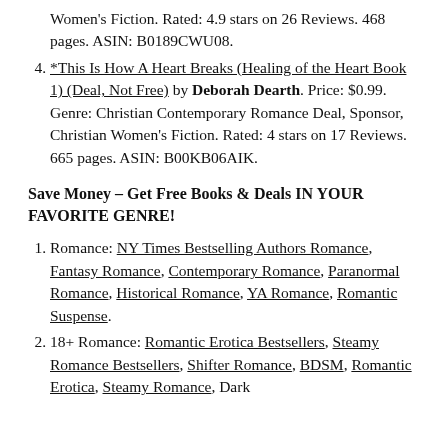Women's Fiction. Rated: 4.9 stars on 26 Reviews. 468 pages. ASIN: B0189CWU08.
*This Is How A Heart Breaks (Healing of the Heart Book 1) (Deal, Not Free) by Deborah Dearth. Price: $0.99. Genre: Christian Contemporary Romance Deal, Sponsor, Christian Women's Fiction. Rated: 4 stars on 17 Reviews. 665 pages. ASIN: B00KB06AIK.
Save Money – Get Free Books & Deals IN YOUR FAVORITE GENRE!
Romance: NY Times Bestselling Authors Romance, Fantasy Romance, Contemporary Romance, Paranormal Romance, Historical Romance, YA Romance, Romantic Suspense.
18+ Romance: Romantic Erotica Bestsellers, Steamy Romance Bestsellers, Shifter Romance, BDSM, Romantic Erotica, Steamy Romance, Dark